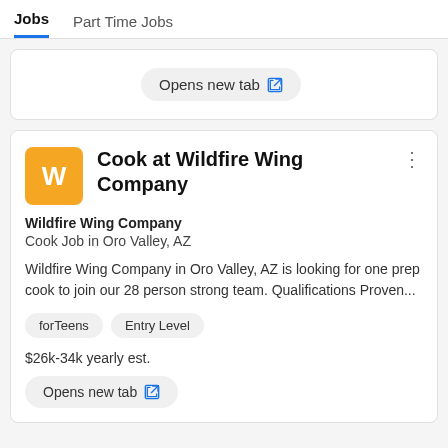Jobs   Part Time Jobs
Opens new tab
Cook at Wildfire Wing Company
Wildfire Wing Company
Cook Job in Oro Valley, AZ
Wildfire Wing Company in Oro Valley, AZ is looking for one prep cook to join our 28 person strong team. Qualifications Proven...
forTeens
Entry Level
$26k-34k yearly est.
Opens new tab